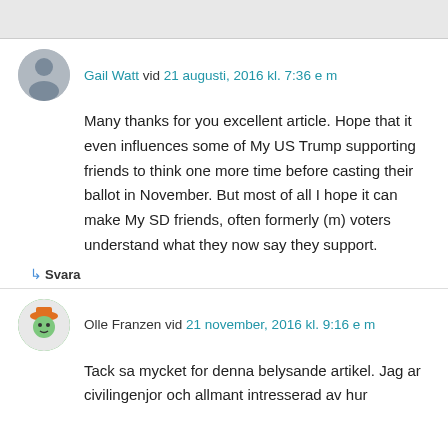Gail Watt vid 21 augusti, 2016 kl. 7:36 e m
Many thanks for you excellent article. Hope that it even influences some of My US Trump supporting friends to think one more time before casting their ballot in November. But most of all I hope it can make My SD friends, often formerly (m) voters understand what they now say they support.
↳ Svara
Olle Franzen vid 21 november, 2016 kl. 9:16 e m
Tack sa mycket for denna belysande artikel. Jag ar civilingenjor och allmant intresserad av hur...